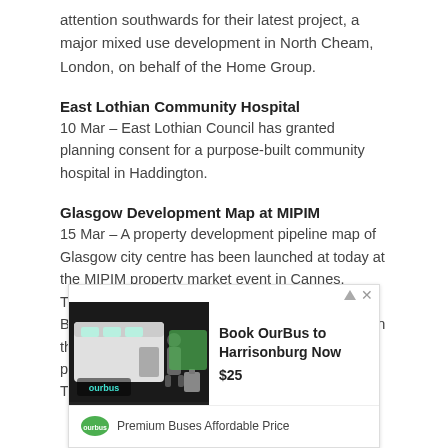attention southwards for their latest project, a major mixed use development in North Cheam, London, on behalf of the Home Group.
East Lothian Community Hospital
10 Mar – East Lothian Council has granted planning consent for a purpose-built community hospital in Haddington.
Glasgow Development Map at MIPIM
15 Mar – A property development pipeline map of Glasgow city centre has been launched at today at the MIPIM property market event in Cannes. The map, issued by commercial property advisors Bilfinger GVA, summarises the key opportunities in the city centre for development as well as the peripheral areas around Glasgow. These areas are set for major improvement and
[Figure (infographic): Advertisement banner for OurBus to Harrisonburg with price $25. Shows a person with luggage near a bus. Logo: OurBus. Headline: Book OurBus to Harrisonburg Now. Price: $25. Footer text: Premium Buses Affordable Price.]